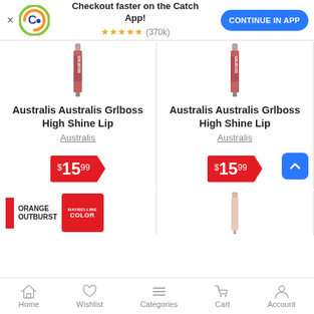[Figure (screenshot): App banner with Catch logo, 'Checkout faster on the Catch App!' text, star rating (370k), and 'CONTINUE IN APP' button]
[Figure (photo): Australis Grlboss High Shine Lip gloss product image (left card)]
Australis Australis Grlboss High Shine Lip
Australis
$15.99
[Figure (photo): Australis Grlboss High Shine Lip gloss product image (right card)]
Australis Australis Grlboss High Shine Lip
Australis
$15.99
[Figure (photo): Bottom left partial product card showing orange outburst color swatch and Maybelline Color product]
[Figure (photo): Bottom right partial product card showing a light pink/nude product]
Home  Wishlist  Categories  Cart  Account